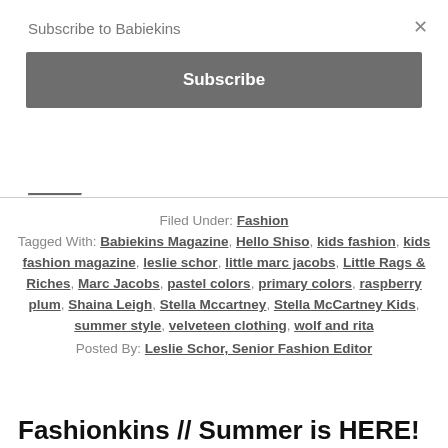Subscribe to Babiekins
×
Subscribe
Filed Under: Fashion
Tagged With: Babiekins Magazine, Hello Shiso, kids fashion, kids fashion magazine, leslie schor, little marc jacobs, Little Rags & Riches, Marc Jacobs, pastel colors, primary colors, raspberry plum, Shaina Leigh, Stella Mccartney, Stella McCartney Kids, summer style, velveteen clothing, wolf and rita
Posted By: Leslie Schor, Senior Fashion Editor
Fashionkins // Summer is HERE!